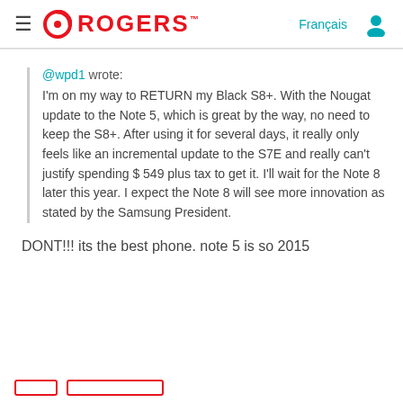Rogers
@wpd1 wrote:
I'm on my way to RETURN my Black S8+. With the Nougat update to the Note 5, which is great by the way, no need to keep the S8+. After using it for several days, it really only feels like an incremental update to the S7E and really can't justify spending $ 549 plus tax to get it. I'll wait for the Note 8 later this year. I expect the Note 8 will see more innovation as stated by the Samsung President.
DONT!!! its the best phone. note 5 is so 2015